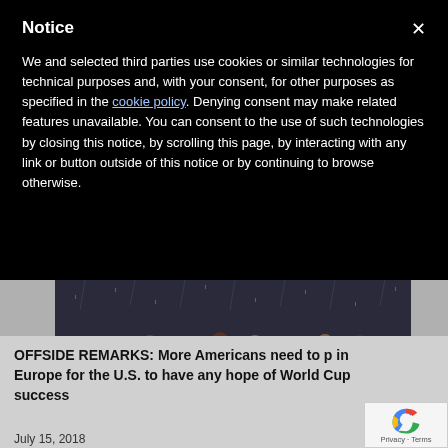Notice
We and selected third parties use cookies or similar technologies for technical purposes and, with your consent, for other purposes as specified in the cookie policy. Denying consent may make related features unavailable. You can consent to the use of such technologies by closing this notice, by scrolling this page, by interacting with any link or button outside of this notice or by continuing to browse otherwise.
[Figure (photo): Group photo of France national football team celebrating, holding a banner reading 'AMPIO' (Champions), in rainy conditions]
OFFSIDE REMARKS: More Americans need to p in Europe for the U.S. to have any hope of World Cup success
July 15, 2018